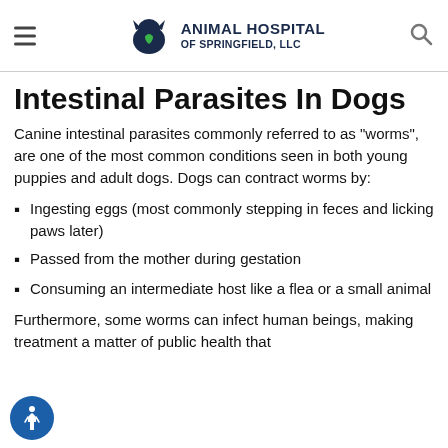Animal Hospital of Springfield, LLC
Intestinal Parasites In Dogs
Canine intestinal parasites commonly referred to as "worms", are one of the most common conditions seen in both young puppies and adult dogs. Dogs can contract worms by:
Ingesting eggs (most commonly stepping in feces and licking paws later)
Passed from the mother during gestation
Consuming an intermediate host like a flea or a small animal
Furthermore, some worms can infect human beings, making treatment a matter of public health that...